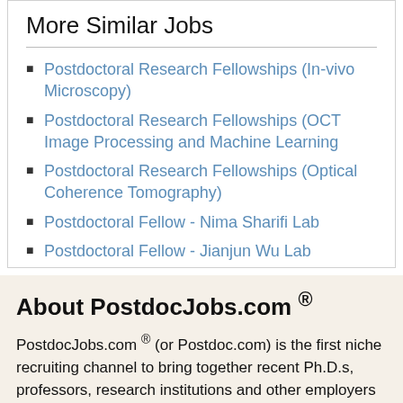More Similar Jobs
Postdoctoral Research Fellowships (In-vivo Microscopy)
Postdoctoral Research Fellowships (OCT Image Processing and Machine Learning
Postdoctoral Research Fellowships (Optical Coherence Tomography)
Postdoctoral Fellow - Nima Sharifi Lab
Postdoctoral Fellow - Jianjun Wu Lab
About PostdocJobs.com ®
PostdocJobs.com ® (or Postdoc.com) is the first niche recruiting channel to bring together recent Ph.D.s, professors, research institutions and other employers to find a good match. Over 1,000 universities, companies, research institutions and government agencies worldwide use our service for recruiting talented postdocs and scientists. We help employers reach hundreds of thousands of